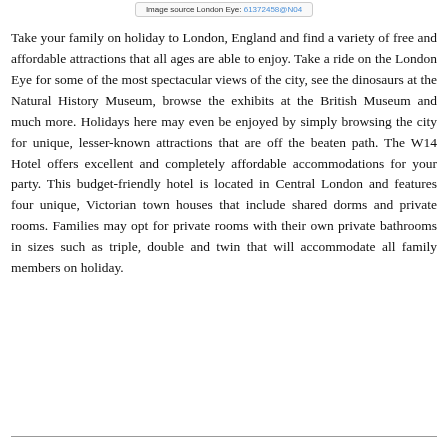Image source London Eye: 61372458@N04
Take your family on holiday to London, England and find a variety of free and affordable attractions that all ages are able to enjoy. Take a ride on the London Eye for some of the most spectacular views of the city, see the dinosaurs at the Natural History Museum, browse the exhibits at the British Museum and much more. Holidays here may even be enjoyed by simply browsing the city for unique, lesser-known attractions that are off the beaten path. The W14 Hotel offers excellent and completely affordable accommodations for your party. This budget-friendly hotel is located in Central London and features four unique, Victorian town houses that include shared dorms and private rooms. Families may opt for private rooms with their own private bathrooms in sizes such as triple, double and twin that will accommodate all family members on holiday.